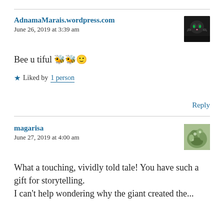AdnamaMarais.wordpress.com
June 26, 2019 at 3:39 am
[Figure (photo): Avatar of a black cat]
Bee u tiful 🐝🐝🙂
★ Liked by 1 person
Reply
magarisa
June 27, 2019 at 4:00 am
[Figure (photo): Avatar of a plant/flower]
What a touching, vividly told tale! You have such a gift for storytelling.
I can't help wondering why the giant created the...